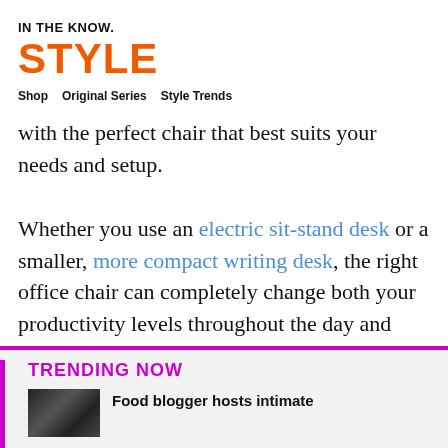IN THE KNOW.
STYLE
Shop   Original Series   Style Trends
with the perfect chair that best suits your needs and setup.
Whether you use an electric sit-stand desk or a smaller, more compact writing desk, the right office chair can completely change both your productivity levels throughout the day and your overall comfort.
TRENDING NOW
Food blogger hosts intimate